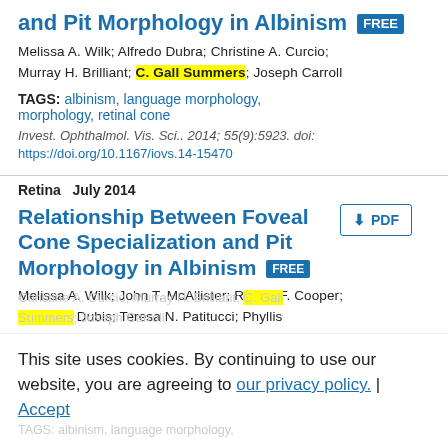and Pit Morphology in Albinism FREE
Melissa A. Wilk; Alfredo Dubra; Christine A. Curcio; Murray H. Brilliant; C. Gall Summers; Joseph Carroll
TAGS: albinism, language morphology, morphology, retinal cone
Invest. Ophthalmol. Vis. Sci.. 2014; 55(9):5923. doi: https://doi.org/10.1167/iovs.14-15470
Retina   July 2014
Relationship Between Foveal Cone Specialization and Pit Morphology in Albinism FREE
Melissa A. Wilk; John T. McAllister; Robert F. Cooper; Adam M. Dubis; Teresa N. Patitucci; Phyllis Summerfelt; Jennifer L. Anderson; Kimberly E.
Stepien; Deborah M. Costakos; Thomas B. Connor, Jr.
Christine A. Curcio; Murray H. Brilliant; C. Gall Summers; Joseph Carroll
TAGS: albinism, language morphology,
This site uses cookies. By continuing to use our website, you are agreeing to our privacy policy. Accept